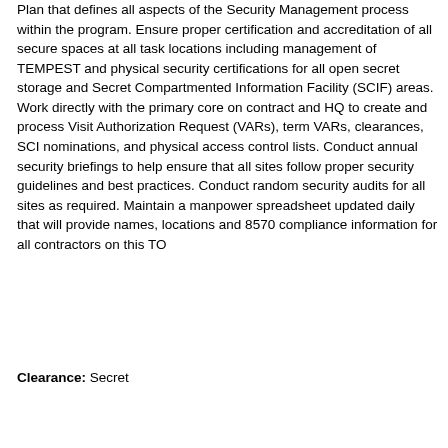Plan that defines all aspects of the Security Management process within the program. Ensure proper certification and accreditation of all secure spaces at all task locations including management of TEMPEST and physical security certifications for all open secret storage and Secret Compartmented Information Facility (SCIF) areas. Work directly with the primary core on contract and HQ to create and process Visit Authorization Request (VARs), term VARs, clearances, SCI nominations, and physical access control lists. Conduct annual security briefings to help ensure that all sites follow proper security guidelines and best practices. Conduct random security audits for all sites as required. Maintain a manpower spreadsheet updated daily that will provide names, locations and 8570 compliance information for all contractors on this TO
Clearance: Secret